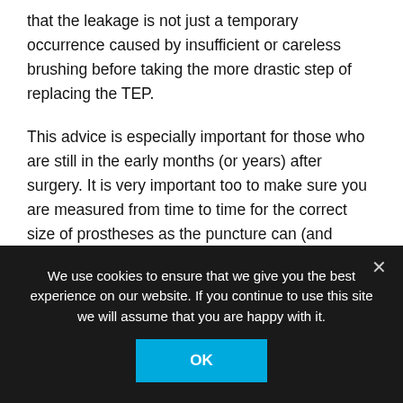that the leakage is not just a temporary occurrence caused by insufficient or careless brushing before taking the more drastic step of replacing the TEP.
This advice is especially important for those who are still in the early months (or years) after surgery. It is very important too to make sure you are measured from time to time for the correct size of prostheses as the puncture can (and frequently does) change over time. Even a completely new TEP will leak if it is not a proper fit. In my own case I have had very different intervals between changes – ranging from just two
We use cookies to ensure that we give you the best experience on our website. If you continue to use this site we will assume that you are happy with it.